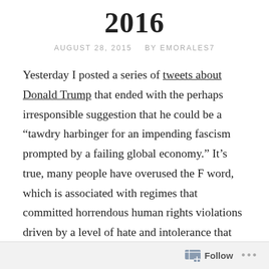2016
AUGUST 28, 2015    BY EMORALES7
Yesterday I posted a series of tweets about Donald Trump that ended with the perhaps irresponsible suggestion that he could be a “tawdry harbinger for an impending fascism prompted by a failing global economy.” It’s true, many people have overused the F word, which is associated with regimes that committed horrendous human rights violations driven by a level of hate and intolerance that seems beyond the intentions or capabilities of
Follow ...